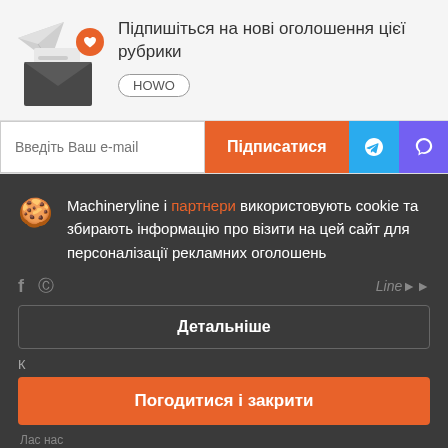Підпишіться на нові оголошення цієї рубрики
HOWO
Введіть Ваш e-mail
Підписатися
Machineryline і партнери використовують cookie та збирають інформацію про візити на цей сайт для персоналізації рекламних оголошень
Детальніше
Погодитися і закрити